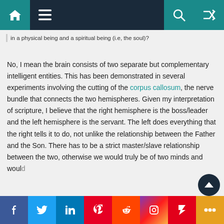Navigation bar with home, menu, search, and shuffle icons
in a physical being and a spiritual being (i.e, the soul)?
No, I mean the brain consists of two separate but complementary intelligent entities. This has been demonstrated in several experiments involving the cutting of the corpus callosum, the nerve bundle that connects the two hemispheres. Given my interpretation of scripture, I believe that the right hemisphere is the boss/leader and the left hemisphere is the servant. The left does everything that the right tells it to do, not unlike the relationship between the Father and the Son. There has to be a strict master/slave relationship between the two, otherwise we would truly be of two minds and would
f  Twitter  in  Pinterest  Reddit  Instagram  Flipboard  +